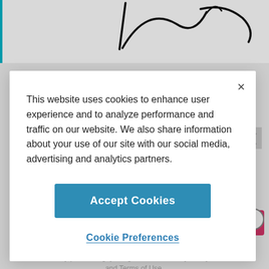[Figure (screenshot): Background webpage with handwriting/signature strokes at top, teal border lines on sides, a pink button partially visible, advertisement text, and privacy policy text. A cookie consent modal dialog overlays the page.]
This website uses cookies to enhance user experience and to analyze performance and traffic on our website. We also share information about your use of our site with our social media, advertising and analytics partners.
Accept Cookies
Cookie Preferences
ADVERTISEMENT
By proceeding, you agree to our Privacy Policy and Terms of Use.